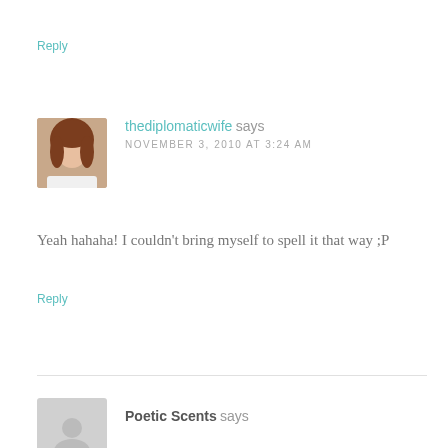Reply
thediplomaticwife says
NOVEMBER 3, 2010 AT 3:24 AM
Yeah hahaha! I couldn't bring myself to spell it that way ;P
Reply
Poetic Scents says